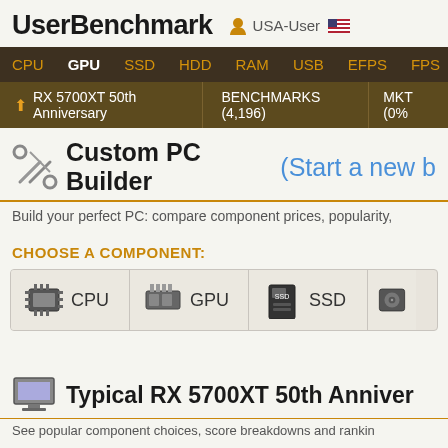UserBenchmark  USA-User
CPU  GPU  SSD  HDD  RAM  USB  EFPS  FPS  Sk
↑ RX 5700XT 50th Anniversary  BENCHMARKS (4,196)  MKT (0%
Custom PC Builder (Start a new b
Build your perfect PC: compare component prices, popularity,
CHOOSE A COMPONENT:
[Figure (screenshot): Component selection row with CPU, GPU, SSD icons and labels]
Typical RX 5700XT 50th Anniver
See popular component choices, score breakdowns and rankin